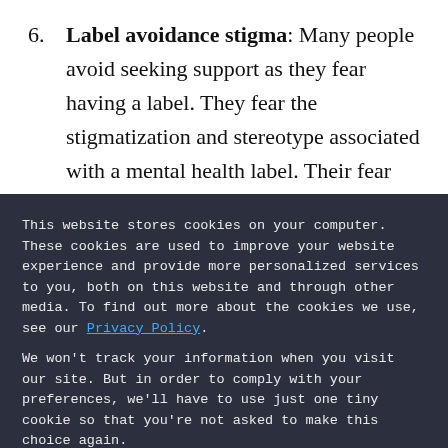6. Label avoidance stigma: Many people avoid seeking support as they fear having a label. They fear the stigmatization and stereotype associated with a mental health label. Their fear might not be misplaced. The general public's lack of understanding can hinder
This website stores cookies on your computer. These cookies are used to improve your website experience and provide more personalized services to you, both on this website and through other media. To find out more about the cookies we use, see our Privacy Policy.
We won't track your information when you visit our site. But in order to comply with your preferences, we'll have to use just one tiny cookie so that you're not asked to make this choice again.